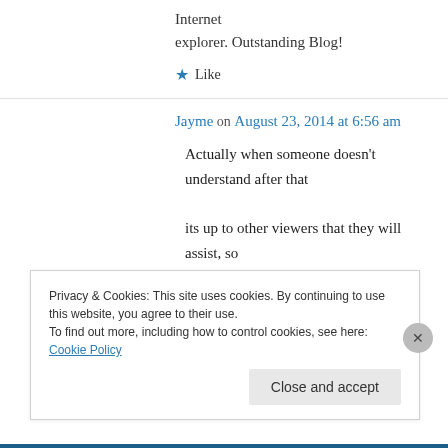Internet explorer. Outstanding Blog!
★ Like
Jayme on August 23, 2014 at 6:56 am
Actually when someone doesn't understand after that its up to other viewers that they will assist, so here it occurs.
Privacy & Cookies: This site uses cookies. By continuing to use this website, you agree to their use. To find out more, including how to control cookies, see here: Cookie Policy
Close and accept